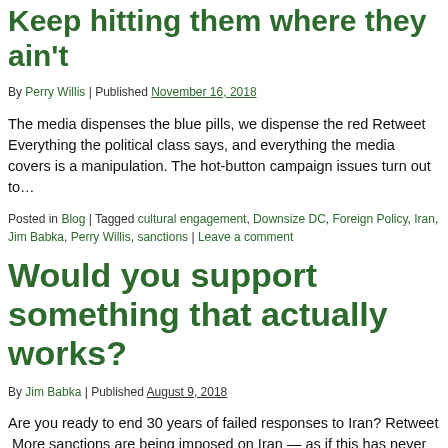Keep hitting them where they ain't
By Perry Willis | Published November 16, 2018
The media dispenses the blue pills, we dispense the red Retweet Everything the political class says, and everything the media covers is a manipulation. The hot-button campaign issues turn out to…
Posted in Blog | Tagged cultural engagement, Downsize DC, Foreign Policy, Iran, Jim Babka, Perry Willis, sanctions | Leave a comment
Would you support something that actually works?
By Jim Babka | Published August 9, 2018
Are you ready to end 30 years of failed responses to Iran? Retweet  More sanctions are being imposed on Iran — as if this has never been tried! But sanctions…
Posted in Blog | Tagged...